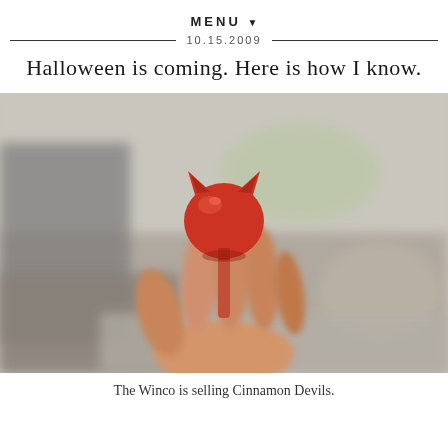MENU ▼
10.15.2009
Halloween is coming. Here is how I know.
[Figure (photo): A hand holding a small red devil/cat-shaped cinnamon candy (Cinnamon Devil), with a blurred background of a store or kitchen setting.]
The Winco is selling Cinnamon Devils.